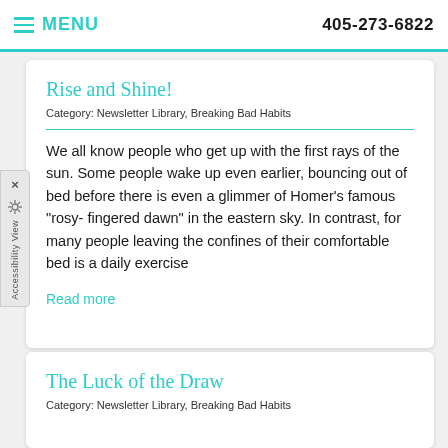MENU | 405-273-6822
Rise and Shine!
Category: Newsletter Library, Breaking Bad Habits
We all know people who get up with the first rays of the sun. Some people wake up even earlier, bouncing out of bed before there is even a glimmer of Homer's famous "rosy- fingered dawn" in the eastern sky. In contrast, for many people leaving the confines of their comfortable bed is a daily exercise
Read more
The Luck of the Draw
Category: Newsletter Library, Breaking Bad Habits